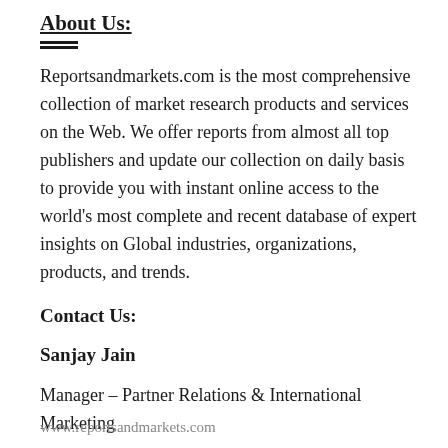About Us:
Reportsandmarkets.com is the most comprehensive collection of market research products and services on the Web. We offer reports from almost all top publishers and update our collection on daily basis to provide you with instant online access to the world’s most complete and recent database of expert insights on Global industries, organizations, products, and trends.
Contact Us:
Sanjay Jain
Manager – Partner Relations & International Marketing
www.reportsandmarkets.com